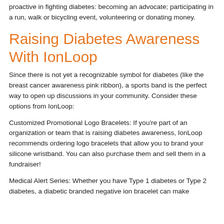proactive in fighting diabetes: becoming an advocate; participating in a run, walk or bicycling event, volunteering or donating money.
Raising Diabetes Awareness With IonLoop
Since there is not yet a recognizable symbol for diabetes (like the breast cancer awareness pink ribbon), a sports band is the perfect way to open up discussions in your community. Consider these options from IonLoop:
Customized Promotional Logo Bracelets: If you're part of an organization or team that is raising diabetes awareness, IonLoop recommends ordering logo bracelets that allow you to brand your silicone wristband. You can also purchase them and sell them in a fundraiser!
Medical Alert Series: Whether you have Type 1 diabetes or Type 2 diabetes, a diabetic branded negative ion bracelet can make